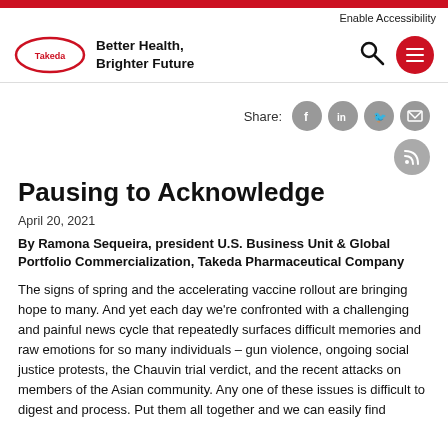Enable Accessibility
[Figure (logo): Takeda pharmaceutical company logo with tagline 'Better Health, Brighter Future' and navigation icons]
Share:
Pausing to Acknowledge
April 20, 2021
By Ramona Sequeira, president U.S. Business Unit & Global Portfolio Commercialization, Takeda Pharmaceutical Company
The signs of spring and the accelerating vaccine rollout are bringing hope to many.  And yet each day we're confronted with a challenging and painful news cycle that repeatedly surfaces difficult memories and raw emotions for so many individuals – gun violence, ongoing social justice protests, the Chauvin trial verdict, and the recent attacks on members of the Asian community. Any one of these issues is difficult to digest and process. Put them all together and we can easily find